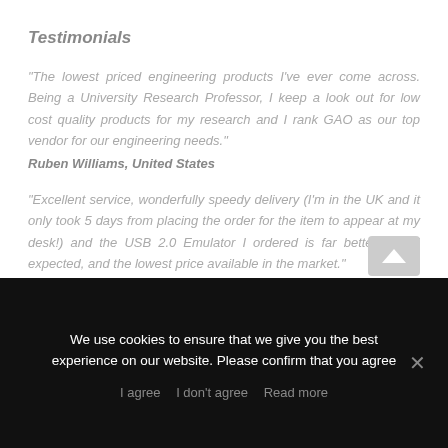Testimonials
"The lowest priced engineering products I've ever come across. Being a University Research Professor, I keep a look out for low cost quality products for my research and I rank GAO as our top vendor for our engineering needs."
Ruben Williams, United States
"Excellent service, wonderfully speedy delivery (I'm in the UK and it only took 5 days from placing the order for the item to appear at my desk!) and the USB 2.0 Emulator I ordered is far better than I expected, and the lowest price available in the market."
Jennifer Graham – United Kingdom
We use cookies to ensure that we give you the best experience on our website. Please confirm that you agree
I agree   I don't agree   Read more